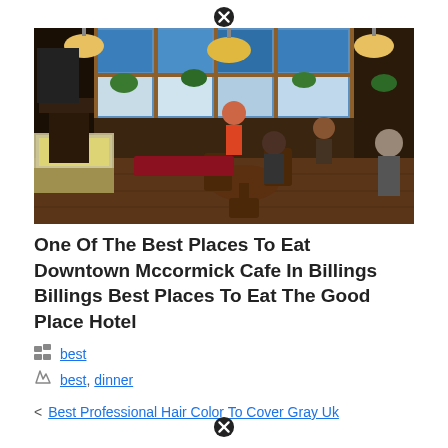[Figure (photo): Interior of McCormick Cafe restaurant in Billings - a warm, busy cafe with wooden furniture, large windows with blue glass transom panels, hanging plants, pendant lights, and patrons dining. A food display case is visible on the left.]
One Of The Best Places To Eat Downtown Mccormick Cafe In Billings Billings Best Places To Eat The Good Place Hotel
best
best, dinner
< Best Professional Hair Color To Cover Gray Uk